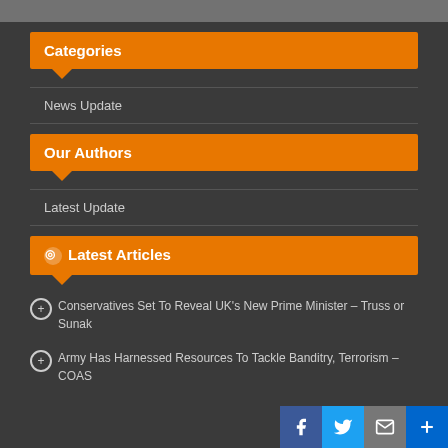Categories
News Update
Our Authors
Latest Update
Latest Articles
Conservatives Set To Reveal UK's New Prime Minister – Truss or Sunak
Army Has Harnessed Resources To Tackle Banditry, Terrorism – COAS